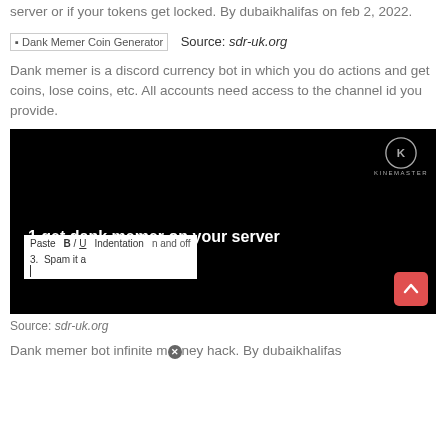server or if your tokens get locked. By dubaikhalifas on feb 2, 2022.
[Figure (screenshot): Broken image placeholder labeled 'Dank Memer Coin Generator' with source attribution 'sdr-uk.org']
Dank memer is a discord currency bot in which you do actions and get coins, lose coins, etc. All accounts need access to the channel id you provide.
[Figure (screenshot): Screenshot of a dark video editor interface showing '1.get dank memer on your server' with a text editor popup showing Paste, B/U, Indentation controls and '3. Spam it a' text. KineMaster logo in top right corner. Red scroll-to-top button in bottom right.]
Source: sdr-uk.org
Dank memer bot infinite money hack. By dubaikhalifas